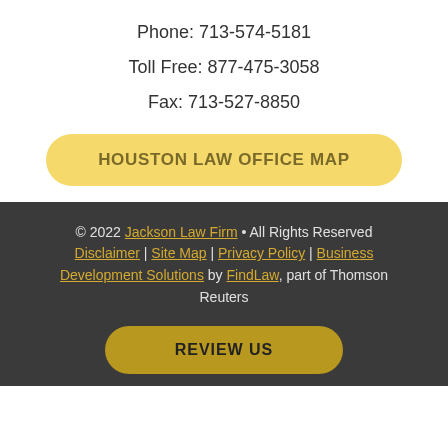Phone: 713-574-5181
Toll Free: 877-475-3058
Fax: 713-527-8850
HOUSTON LAW OFFICE MAP
© 2022 Jackson Law Firm • All Rights Reserved Disclaimer | Site Map | Privacy Policy | Business Development Solutions by FindLaw, part of Thomson Reuters
REVIEW US